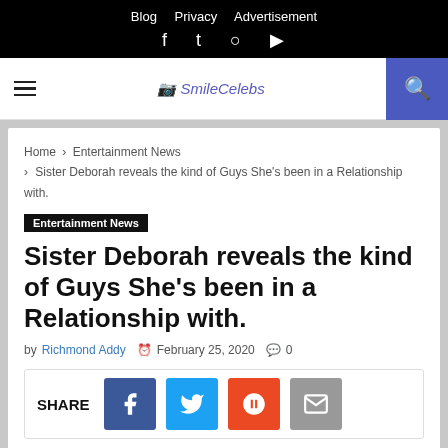Blog  Privacy  Advertisement | f  twitter  instagram  youtube
SmileCelebs
Home › Entertainment News › Sister Deborah reveals the kind of Guys She's been in a Relationship with.
Entertainment News
Sister Deborah reveals the kind of Guys She's been in a Relationship with.
by Richmond Addy  © February 25, 2020  ☐ 0
SHARE